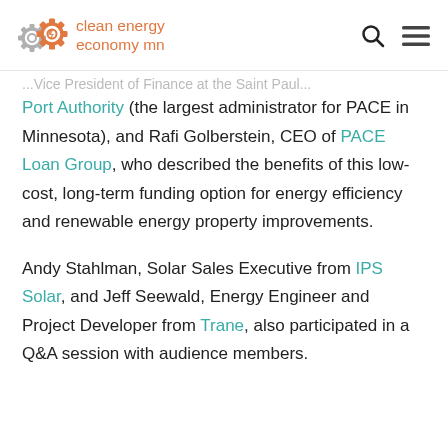clean energy economy mn
Port Authority (the largest administrator for PACE in Minnesota), and Rafi Golberstein, CEO of PACE Loan Group, who described the benefits of this low-cost, long-term funding option for energy efficiency and renewable energy property improvements.
Andy Stahlman, Solar Sales Executive from IPS Solar, and Jeff Seewald, Energy Engineer and Project Developer from Trane, also participated in a Q&A session with audience members.